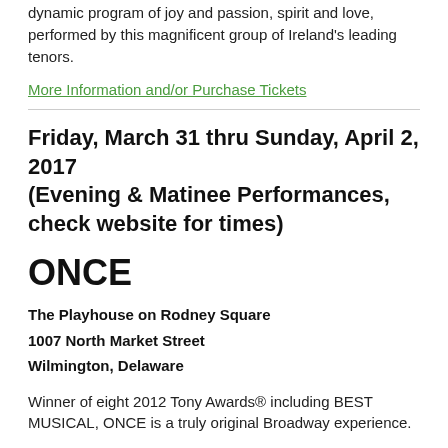dynamic program of joy and passion, spirit and love, performed by this magnificent group of Ireland's leading tenors.
More Information and/or Purchase Tickets
Friday, March 31 thru Sunday, April 2, 2017 (Evening & Matinee Performances, check website for times)
ONCE
The Playhouse on Rodney Square
1007 North Market Street
Wilmington, Delaware
Winner of eight 2012 Tony Awards® including BEST MUSICAL, ONCE is a truly original Broadway experience.